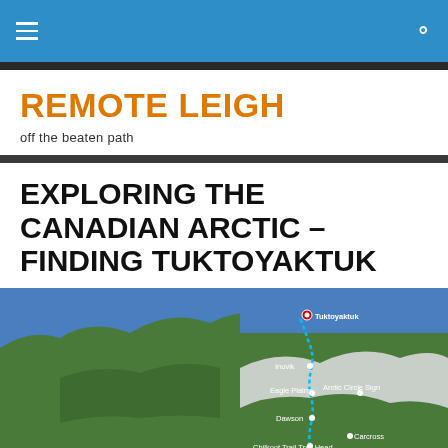REMOTE LEIGH — off the beaten path (navigation bar)
REMOTE LEIGH
off the beaten path
EXPLORING THE CANADIAN ARCTIC – FINDING TUKTOYAKTUK
[Figure (map): Satellite map showing a route from southern Canada/Alaska northward to Tuktoyaktuk on the Arctic coast, passing through labeled waypoints: Carcross, Chilkoot Trail Trail Head, Dawson, Eagle Plains, Arctic Circle Sign, Inuvik, and Tuktoyaktuk (marked with red pin). The route is shown as a dotted/dashed blue line.]